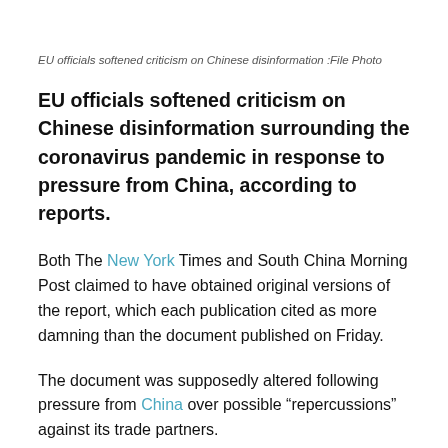EU officials softened criticism on Chinese disinformation :File Photo
EU officials softened criticism on Chinese disinformation surrounding the coronavirus pandemic in response to pressure from China, according to reports.
Both The New York Times and South China Morning Post claimed to have obtained original versions of the report, which each publication cited as more damning than the document published on Friday.
The document was supposedly altered following pressure from China over possible “repercussions” against its trade partners.